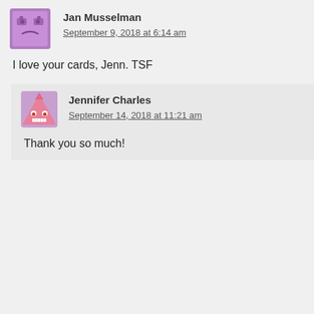Jan Musselman
September 9, 2018 at 6:14 am
I love your cards, Jenn. TSF
Jennifer Charles
September 14, 2018 at 11:21 am
Thank you so much!